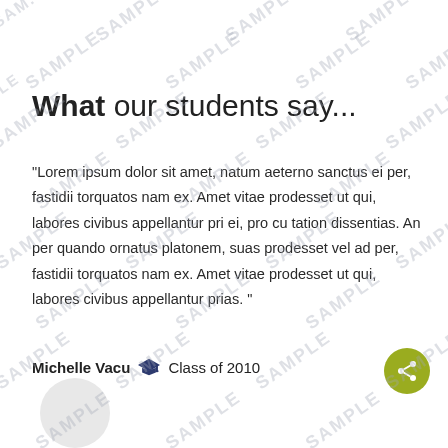What our students say...
“Lorem ipsum dolor sit amet, natum aeterno sanctus ei per, fastidii torquatos nam ex. Amet vitae prodesset ut qui, labores civibus appellantur pri ei, pro cu tation dissentias. An per quando ornatus platonem, suas prodesset vel ad per, fastidii torquatos nam ex. Amet vitae prodesset ut qui, labores civibus appellantur prias. ”
Michelle Vacu 🎓 Class of 2010